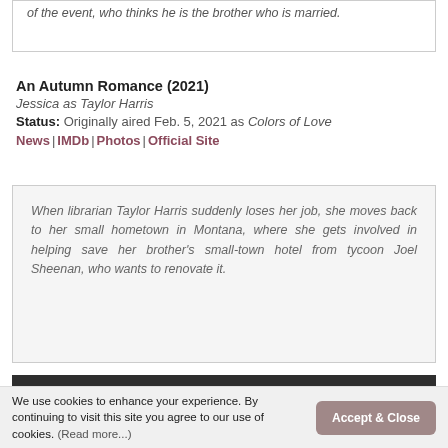of the event, who thinks he is the brother who is married.
An Autumn Romance (2021)
Jessica as Taylor Harris
Status: Originally aired Feb. 5, 2021 as Colors of Love
News | IMDb | Photos | Official Site
When librarian Taylor Harris suddenly loses her job, she moves back to her small hometown in Montana, where she gets involved in helping save her brother's small-town hotel from tycoon Joel Sheenan, who wants to renovate it.
LOVE FIGHTS
We use cookies to enhance your experience. By continuing to visit this site you agree to our use of cookies. (Read more...)